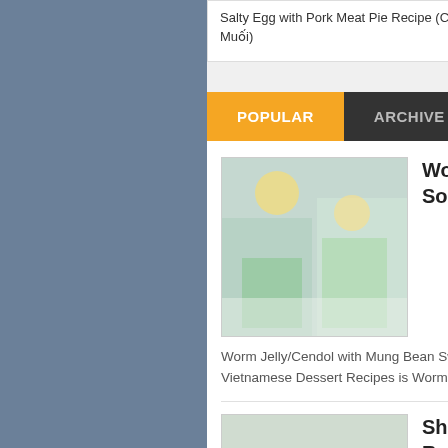Salty Egg with Pork Meat Pie Recipe (Chả Trứng Vịt Muối) | Stir-fried Rice Pasta with Beef Recipe (Nui Gạo Xào Bò)
POPULAR | ARCHIVE | CATEGORY
[Figure (photo): Worm jelly/cendol drinks in tall glasses with green jelly, mung bean, and yellow coconut milk]
Worm Jelly/Cendol with Mung Bean Sweet Soup Recipe (Chè Bánh Lọt Đậu Xanh)
Worm Jelly/Cendol with Mung Bean Sweet Soup Recipe (Chè Bánh Lọt Đậu Xanh)   One of my favorite Vietnamese Dessert Recipes is Worm Jell...
[Figure (photo): Shredded pork and pork skin rice paper rolls on a white plate with herbs]
Shredded Pork and Pork Skin Rice Paper Rolls Recipe (Bi Cuon)
Shredded Pork and Pork Skin Rice Paper Rolls Recipe (Bi Cuon)  Today, I will show you one of popular...